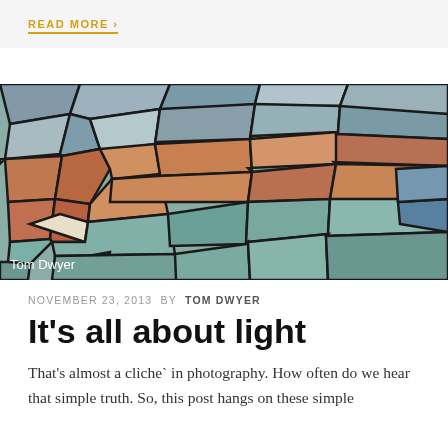READ MORE ›
[Figure (photo): Close-up photograph of a colorful mosaic with terracotta, teal, blue, and cream stone pieces separated by dark grout lines. Photo credit: Tom Dwyer.]
NOVEMBER 23, 2013 BY TOM DWYER
It's all about light
That's almost a cliche` in photography. How often do we hear that simple truth. So, this post hangs on these simple